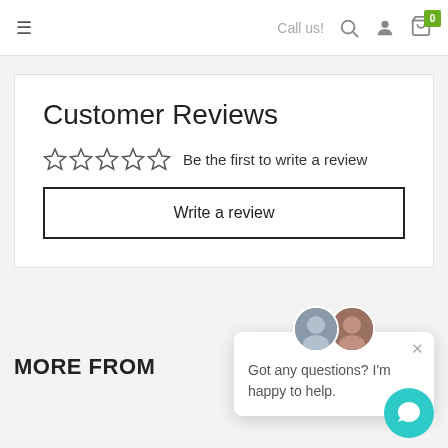≡   Call us!  🔍  👤  🛒 0
Customer Reviews
☆ ☆ ☆ ☆ ☆  Be the first to write a review
Write a review
MORE FROM
Got any questions? I'm happy to help.